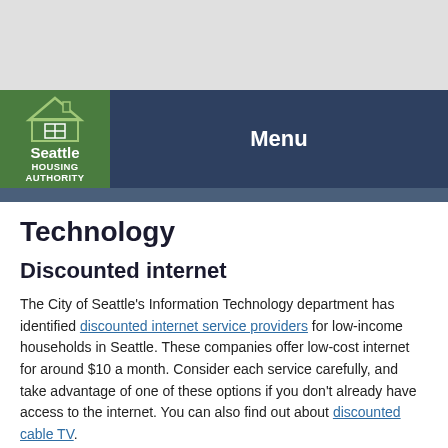[Figure (logo): Seattle Housing Authority logo: green house icon with white text reading Seattle HOUSING AUTHORITY]
Menu
Technology
Discounted internet
The City of Seattle's Information Technology department has identified discounted internet service providers for low-income households in Seattle. These companies offer low-cost internet for around $10 a month. Consider each service carefully, and take advantage of one of these options if you don't already have access to the internet. You can also find out about discounted cable TV.